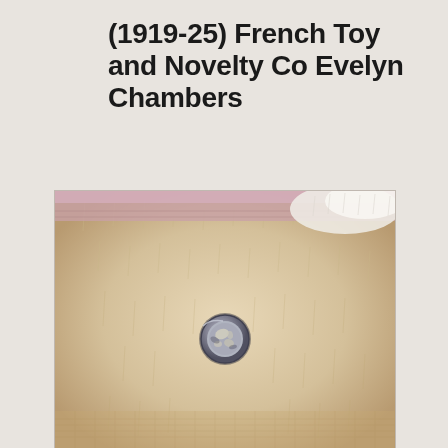(1919-25) French Toy and Novelty Co Evelyn Chambers
[Figure (photo): Close-up photograph of a vintage teddy bear's torso showing cream/beige mohair fur with a small round metal button or disc attached at the center. Pink fabric and white fur visible at the top edge.]